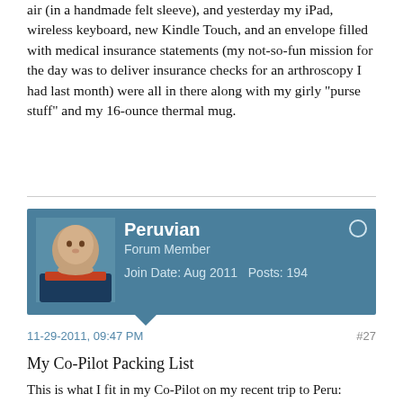air (in a handmade felt sleeve), and yesterday my iPad, wireless keyboard, new Kindle Touch, and an envelope filled with medical insurance statements (my not-so-fun mission for the day was to deliver insurance checks for an arthroscopy I had last month) were all in there along with my girly "purse stuff" and my 16-ounce thermal mug.
[Figure (other): Forum user card for Peruvian, Forum Member, Join Date: Aug 2011, Posts: 194, with avatar photo]
11-29-2011, 09:47 PM
#27
My Co-Pilot Packing List
This is what I fit in my Co-Pilot on my recent trip to Peru:
http://i1188.photobucket.com/albums/...o/c8399c45.jpg
The iPad Travel Express had:
- iPad
- Apple Wireless Keyboard
- AC Adapter
- Apple iPad Camera Conector Kit